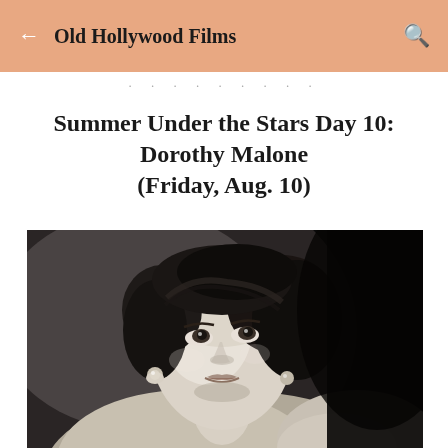Old Hollywood Films
· · ·
Summer Under the Stars Day 10: Dorothy Malone (Friday, Aug. 10)
[Figure (photo): Black and white portrait photograph of Dorothy Malone, a woman with curled dark hair, looking upward and to the right, wearing earrings, classic Hollywood glamour style.]